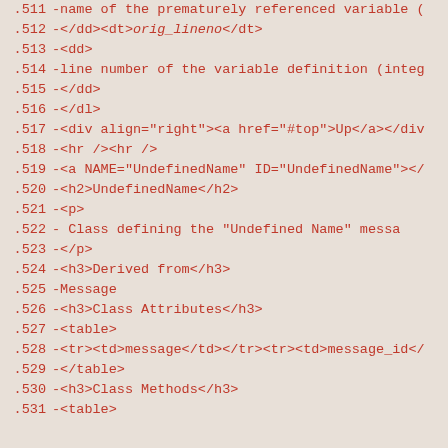.511  -name of the prematurely referenced variable (
.512  -</dd><dt><i>orig_lineno</i></dt>
.513  -<dd>
.514  -line number of the variable definition (integ
.515  -</dd>
.516  -</dl>
.517  -<div align="right"><a href="#top">Up</a></div
.518  -<hr /><hr />
.519  -<a NAME="UndefinedName" ID="UndefinedName"></
.520  -<h2>UndefinedName</h2>
.521  -<p>
.522  -     Class defining the "Undefined Name" messa
.523  -</p>
.524  -<h3>Derived from</h3>
.525  -Message
.526  -<h3>Class Attributes</h3>
.527  -<table>
.528  -<tr><td>message</td></tr><tr><td>message_id</
.529  -</table>
.530  -<h3>Class Methods</h3>
.531  -<table>